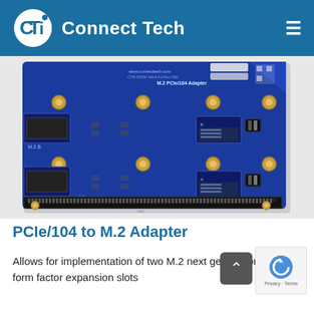[Figure (logo): Connect Tech logo with CTI icon and company name in white on blue header]
[Figure (photo): M.2 PCIe/104 Adapter circuit board — blue PCB with two M.2 slots (M.2 B and M.2 A), gold standoffs, PCIe/104 edge connector at bottom, various SMD components]
PCIe/104 to M.2 Adapter
Allows for implementation of two M.2 next generation form factor expansion slots